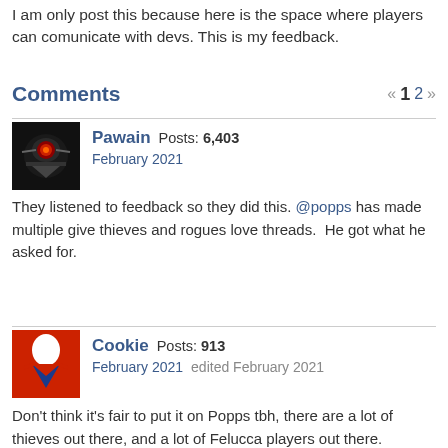I am only post this because here is the space where players can comunicate with devs. This is my feedback.
Comments
« 1 2 »
Pawain  Posts: 6,403
February 2021
They listened to feedback so they did this. @popps has made multiple give thieves and rogues love threads.  He got what he asked for.
Cookie  Posts: 913
February 2021   edited February 2021
Don't think it's fair to put it on Popps tbh, there are a lot of thieves out there, and a lot of Felucca players out there.

And Popps is usually talking about PvM rogues - which actually I play also, and enjoy.

If Felucca is as deserted as you all say it is, I don't see how you are having any issues doing this.

Don't you think double clicking clicky things for instant risk free gifts is just